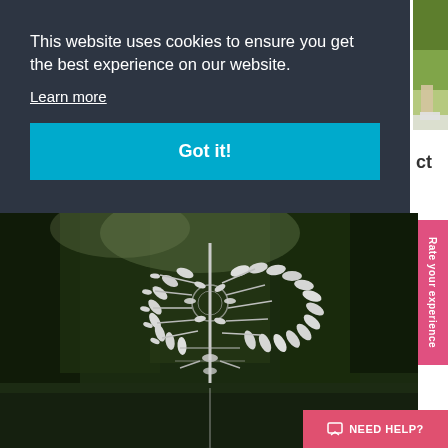[Figure (screenshot): Cookie consent banner overlay on a website showing a white kinetic sculpture in a forest setting. The banner has a dark background with white text and a teal 'Got it!' button.]
This website uses cookies to ensure you get the best experience on our website.
Learn more
Got it!
[Figure (photo): Large kinetic metallic white sculpture with spoon-like elements arranged in a spiral/helix pattern, photographed against dark forest trees with reflection in water below.]
Rate your experience
NEED HELP?